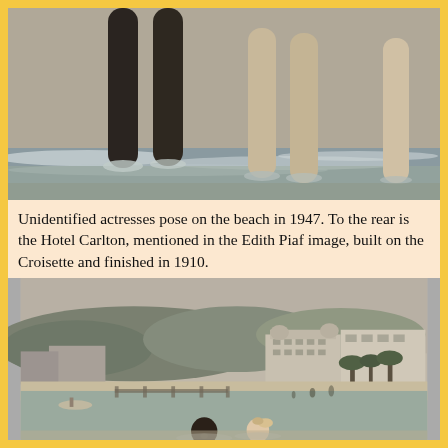[Figure (photo): Black and white photograph showing legs of unidentified actresses standing at the beach shoreline with waves, taken in 1947.]
Unidentified actresses pose on the beach in 1947. To the rear is the Hotel Carlton, mentioned in the Edith Piaf image, built on the Croisette and finished in 1910.
[Figure (photo): Black and white photograph of a beach panorama showing the Cannes beach with the Hotel Carlton visible in the background, hills behind the city, palm trees, and two people swimming in the foreground water.]